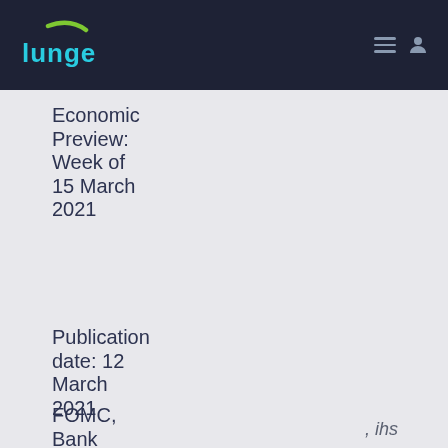[Figure (logo): Lunge logo - white/cyan text with green swoosh on dark navy background navbar]
Economic Preview: Week of 15 March 2021
Publication date: 12 March 2021
Week Ahead Economic Preview
FOMC, Bank
ihs